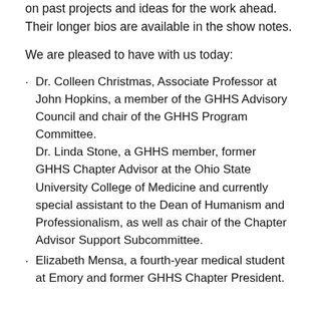on past projects and ideas for the work ahead. Their longer bios are available in the show notes.
We are pleased to have with us today:
Dr. Colleen Christmas, Associate Professor at John Hopkins, a member of the GHHS Advisory Council and chair of the GHHS Program Committee.
Dr. Linda Stone, a GHHS member, former GHHS Chapter Advisor at the Ohio State University College of Medicine and currently special assistant to the Dean of Humanism and Professionalism, as well as chair of the Chapter Advisor Support Subcommittee.
Elizabeth Mensa, a fourth-year medical student at Emory and former GHHS Chapter President.